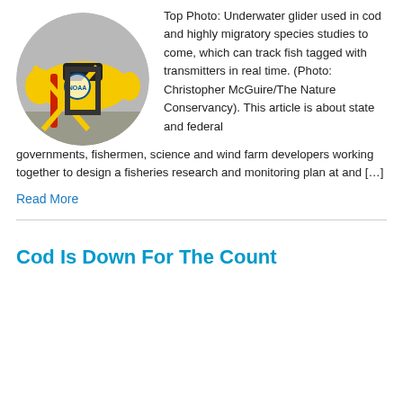[Figure (photo): Circular photo of a yellow underwater glider with NOAA logo and red straps, used in fisheries research.]
Top Photo: Underwater glider used in cod and highly migratory species studies to come, which can track fish tagged with transmitters in real time. (Photo: Christopher McGuire/The Nature Conservancy). This article is about state and federal governments, fishermen, science and wind farm developers working together to design a fisheries research and monitoring plan at and […]
Read More
Cod Is Down For The Count